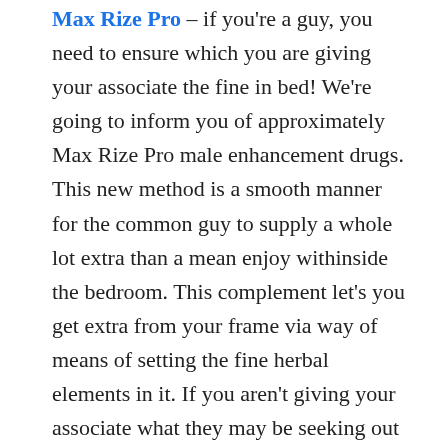Max Rize Pro – if you're a guy, you need to ensure which you are giving your associate the fine in bed! We're going to inform you of approximately Max Rize Pro male enhancement drugs. This new method is a smooth manner for the common guy to supply a whole lot extra than a mean enjoy withinside the bedroom. This complement let's you get extra from your frame via way of means of setting the fine herbal elements in it. If you aren't giving your associate what they may be seeking out in bed, they may be possibly going to move to discover a person who can supply them with what they need. That's why guys are taking dietary supplements like this one. To research extra, hold analyzing our Max Rize Pro evaluation. We'll let you know what you want to